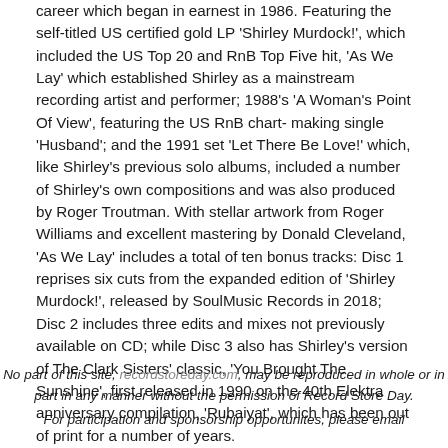career which began in earnest in 1986. Featuring the self-titled US certified gold LP 'Shirley Murdock!', which included the US Top 20 and RnB Top Five hit, 'As We Lay' which established Shirley as a mainstream recording artist and performer; 1988's 'A Woman's Point Of View', featuring the US RnB chart- making single 'Husband'; and the 1991 set 'Let There Be Love!' which, like Shirley's previous solo albums, included a number of Shirley's own compositions and was also produced by Roger Troutman. With stellar artwork from Roger Williams and excellent mastering by Donald Cleveland, 'As We Lay' includes a total of ten bonus tracks: Disc 1 reprises six cuts from the expanded edition of 'Shirley Murdock!', released by SoulMusic Records in 2018; Disc 2 includes three edits and mixes not previously available on CD; while Disc 3 also has Shirley's version of The Clark Sisters' classic, 'You Brought The Sunshine', first released in 1990 on the 40th Elektra anniversary compilation, 'Rubaiyat', which has been out of print for a number of years.
No part of this site, recordstoreday.com, may be reproduced in whole or in part in any manner without the permission of Record Store Day. For participation and sponsorship opportunites, please email